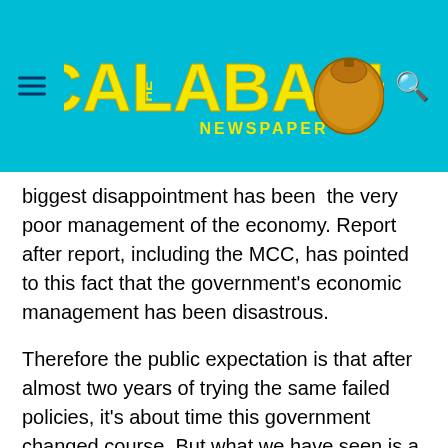[Figure (logo): The Calabash Newspaper logo with yellow bold text on cyan/blue header bar, featuring a calabash gourd graphic]
biggest disappointment has been  the very poor management of the economy. Report after report, including the MCC, has pointed to this fact that the government's economic management has been disastrous.
Therefore the public expectation is that after almost two years of trying the same failed policies, it's about time this government changed course. But what we have seen is a dogged continuation on the wrong direction as demonstrated in this most disappointing cabinet reshuffle which doesn't even align with the president's own avowed development priorities.
How can you run such a sham economy yet you are adding